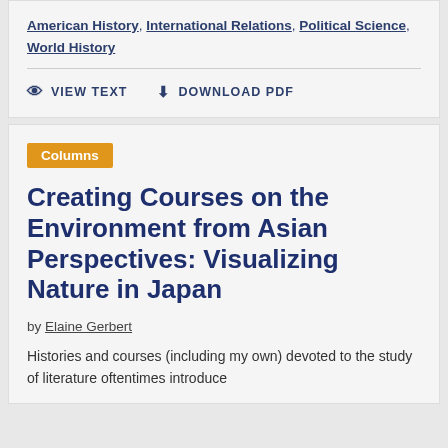American History, International Relations, Political Science, World History
👁 VIEW TEXT   ⬇ DOWNLOAD PDF
Columns
Creating Courses on the Environment from Asian Perspectives: Visualizing Nature in Japan
by Elaine Gerbert
Histories and courses (including my own) devoted to the study of literature oftentimes introduce